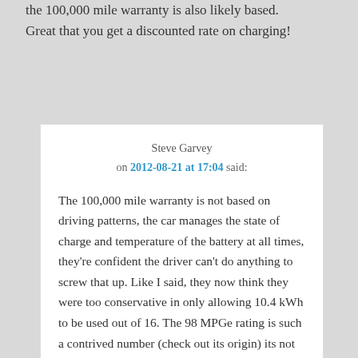the 100,000 mile warranty is also likely based. Great that you get a discounted rate on charging!
Steve Garvey on 2012-08-21 at 17:04 said:
The 100,000 mile warranty is not based on driving patterns, the car manages the state of charge and temperature of the battery at all times, they're confident the driver can't do anything to screw that up. Like I said, they now think they were too conservative in only allowing 10.4 kWh to be used out of 16. The 98 MPGe rating is such a contrived number (check out its origin) its not even worth mentioning.